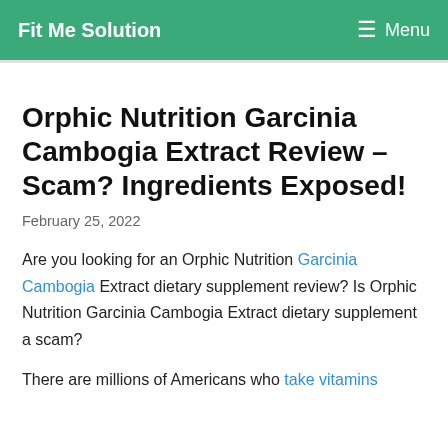Fit Me Solution   Menu
Orphic Nutrition Garcinia Cambogia Extract Review – Scam? Ingredients Exposed!
February 25, 2022
Are you looking for an Orphic Nutrition Garcinia Cambogia Extract dietary supplement review? Is Orphic Nutrition Garcinia Cambogia Extract dietary supplement a scam?
There are millions of Americans who take vitamins